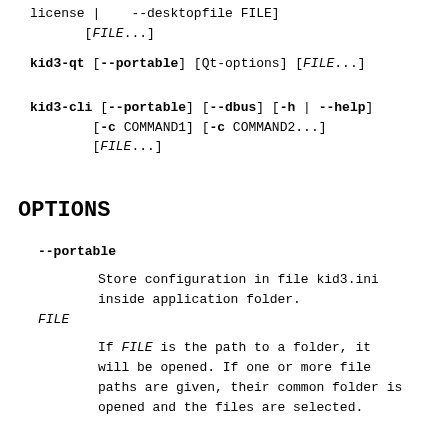license | --desktopfile FILE]
       [FILE...]
kid3-qt [--portable] [Qt-options] [FILE...]
kid3-cli [--portable] [--dbus] [-h | --help]
        [-c COMMAND1] [-c COMMAND2...]
        [FILE...]
OPTIONS
--portable
Store configuration in file kid3.ini
inside application folder.
FILE
If FILE is the path to a folder, it
will be opened. If one or more file
paths are given, their common folder is
opened and the files are selected.